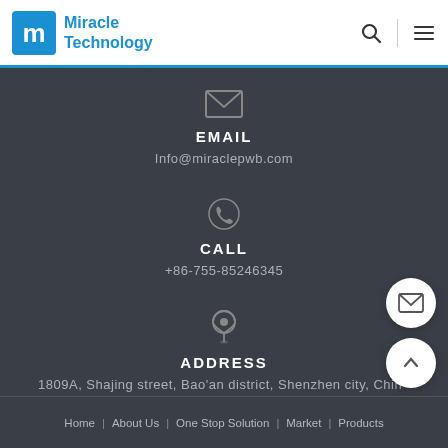Miracle Technology
EMAIL
Info@miraclepwb.com
CALL
+86-755-85246345
ADDRESS
1809A, Shajing street, Bao'an district, Shenzhen city, China
Home | About Us | One Stop Solution | Market | Products